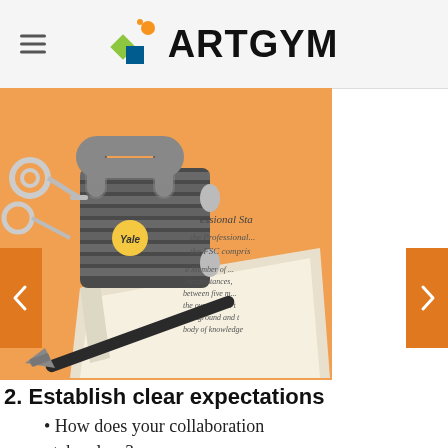iARTGYM
[Figure (illustration): Stylized illustration of a Yale padlock on top of open books with handwritten text, and a paintbrush, on an orange background. Text fragments visible include 'Professional Sta...', 'the Professional...', 'the FSC compris...', 'a Member of...', 'circumstances,', 'between five m...', 'the overall aim...', 'background and...', 'body of knowledge'.]
2. Establish clear expectations
How does your collaboration take place?